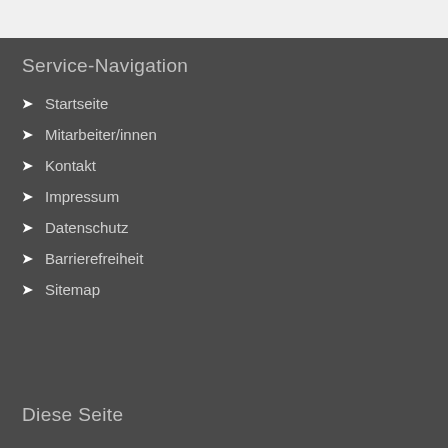Service-Navigation
Startseite
Mitarbeiter/innen
Kontakt
Impressum
Datenschutz
Barrierefreiheit
Sitemap
Diese Seite